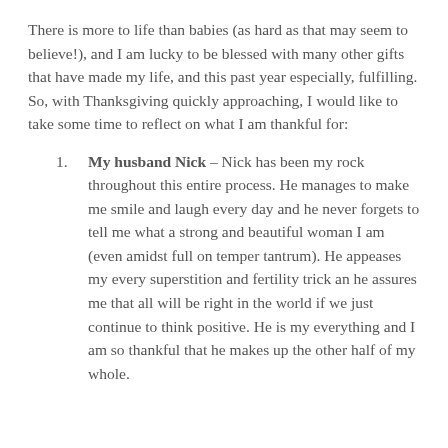There is more to life than babies (as hard as that may seem to believe!), and I am lucky to be blessed with many other gifts that have made my life, and this past year especially, fulfilling. So, with Thanksgiving quickly approaching, I would like to take some time to reflect on what I am thankful for:
My husband Nick – Nick has been my rock throughout this entire process. He manages to make me smile and laugh every day and he never forgets to tell me what a strong and beautiful woman I am (even amidst full on temper tantrum). He appeases my every superstition and fertility trick an he assures me that all will be right in the world if we just continue to think positive. He is my everything and I am so thankful that he makes up the other half of my whole.